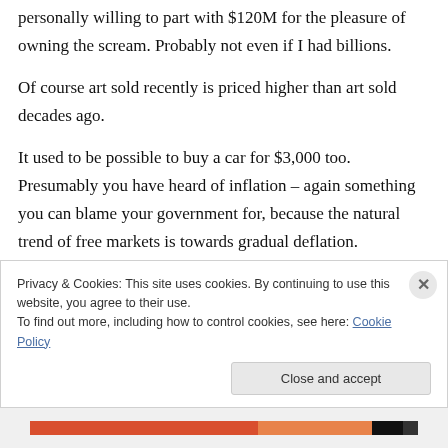personally willing to part with $120M for the pleasure of owning the scream. Probably not even if I had billions.
Of course art sold recently is priced higher than art sold decades ago.
It used to be possible to buy a car for $3,000 too. Presumably you have heard of inflation – again something you can blame your government for, because the natural trend of free markets is towards gradual deflation.
Privacy & Cookies: This site uses cookies. By continuing to use this website, you agree to their use.
To find out more, including how to control cookies, see here: Cookie Policy